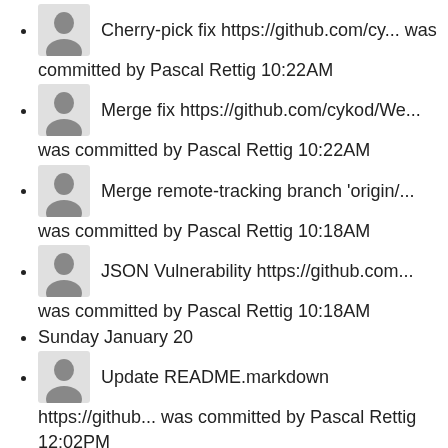Cherry-pick fix https://github.com/cy... was committed by Pascal Rettig 10:22AM
Merge fix https://github.com/cykod/We... was committed by Pascal Rettig 10:22AM
Merge remote-tracking branch 'origin/... was committed by Pascal Rettig 10:18AM
JSON Vulnerability https://github.com... was committed by Pascal Rettig 10:18AM
Sunday January 20
Update README.markdown https://github... was committed by Pascal Rettig 12:02PM
Wednesday January 09
Rails vulnerability fix https://githu... was committed by Cykodcore 08:06AM